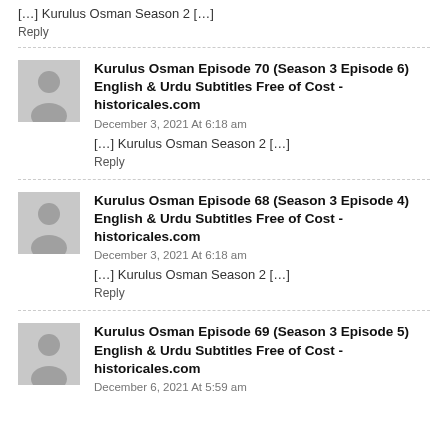[…] Kurulus Osman Season 2 […]
Reply
Kurulus Osman Episode 70 (Season 3 Episode 6) English & Urdu Subtitles Free of Cost - historicales.com
December 3, 2021 At 6:18 am
[…] Kurulus Osman Season 2 […]
Reply
Kurulus Osman Episode 68 (Season 3 Episode 4) English & Urdu Subtitles Free of Cost - historicales.com
December 3, 2021 At 6:18 am
[…] Kurulus Osman Season 2 […]
Reply
Kurulus Osman Episode 69 (Season 3 Episode 5) English & Urdu Subtitles Free of Cost - historicales.com
December 6, 2021 At 5:59 am